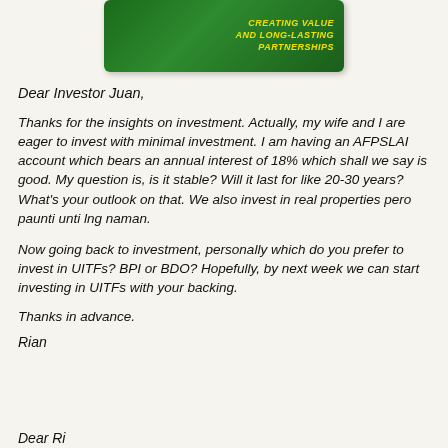[Figure (logo): Green banner logo with circular seal on left and yellow italic text reading 'CREATING VALUE AND LONG-LASTING PARTNERSHIPS' on right]
Dear Investor Juan,
Thanks for the insights on investment.  Actually, my wife and I are eager to invest with minimal investment.  I am having an AFPSLAI account which bears an annual interest of 18% which shall we say is good.  My question is, is it stable? Will it last for like 20-30 years? What's your outlook on that.  We also invest in real properties pero paunti unti lng naman.
Now going back to investment, personally which do you prefer to invest in UITFs? BPI or BDO? Hopefully, by next week we can start investing in UITFs with your backing.
Thanks in advance.
Rian
Dear Ri